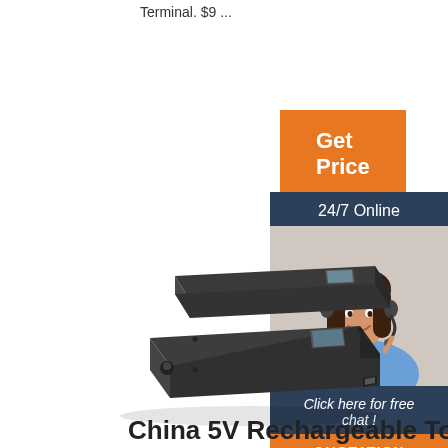Terminal. $9 ...
[Figure (other): Orange 'Get Price' button]
[Figure (other): 24/7 Online chat widget with photo of a smiling woman wearing a headset, 'Click here for free chat!' text, and orange QUOTATION button]
[Figure (photo): Product photo of two dark/black rectangular electronic device units (battery or power supply modules) shown at an angle]
China 5V Rechargeable Tour...